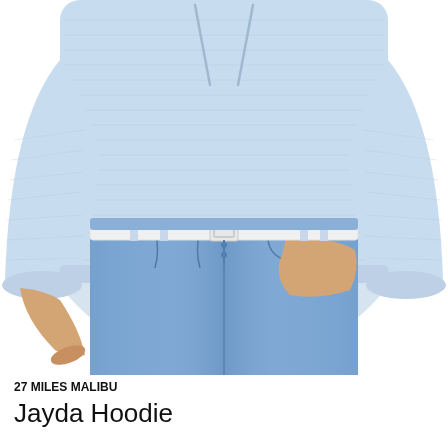[Figure (photo): A model wearing a light blue knit hoodie sweater tucked into high-waisted light wash wide-leg jeans with a white belt. Only the torso area is visible, cropped at the mid-chest and mid-thigh.]
27 MILES MALIBU
Jayda Hoodie